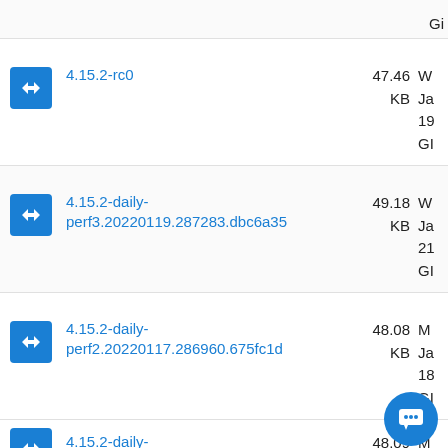| Icon | Package Name | Size | Date/Info |
| --- | --- | --- | --- |
| [icon] | 4.15.2-rc0 | 47.46 KB | Ja
19
GI |
| [icon] | 4.15.2-daily-perf3.20220119.287283.dbc6a35 | 49.18 KB | Ja
21
GI |
| [icon] | 4.15.2-daily-perf2.20220117.286960.675fc1d | 48.08 KB | Ja
18
GI |
| [icon] | 4.15.2-daily- | 48.09 | Ja |